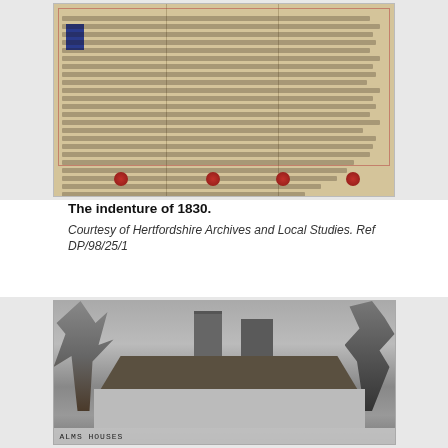[Figure (photo): Photograph of a historical indenture document from 1830, laid open showing dense handwritten text across the pages with red wax seals at the bottom and a red border outline. A blue label is visible on the left side.]
The indenture of 1830.
Courtesy of Hertfordshire Archives and Local Studies. Ref DP/98/25/1
[Figure (photo): Black and white photograph of old cottages with thatched roofs and brick chimneys, surrounded by bare trees. A caption at the bottom reads 'ALMS HOUSES'.]